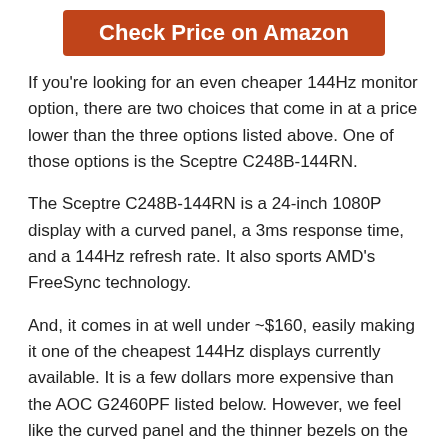[Figure (other): Orange/red button with white bold text 'Check Price on Amazon']
If you're looking for an even cheaper 144Hz monitor option, there are two choices that come in at a price lower than the three options listed above. One of those options is the Sceptre C248B-144RN.
The Sceptre C248B-144RN is a 24-inch 1080P display with a curved panel, a 3ms response time, and a 144Hz refresh rate. It also sports AMD's FreeSync technology.
And, it comes in at well under ~$160, easily making it one of the cheapest 144Hz displays currently available. It is a few dollars more expensive than the AOC G2460PF listed below. However, we feel like the curved panel and the thinner bezels on the Sceptre C248B-144RN give it a bit more value. If those two things aren't important to